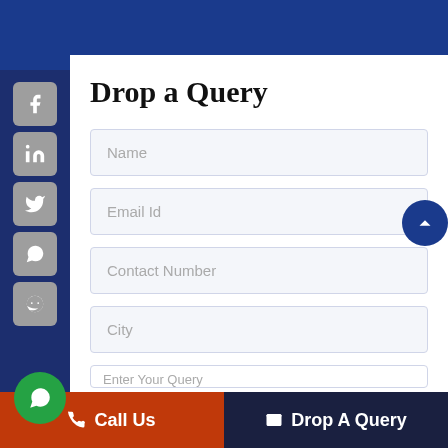Drop a Query
Name
Email Id
Contact Number
City
Enter Your Query
Call Us   Drop A Query